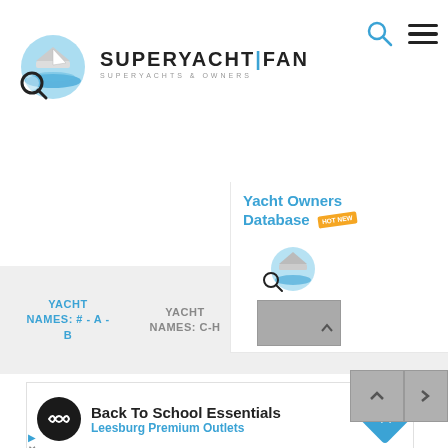[Figure (logo): SuperYachtFan logo with magnifying glass over yacht and waves, blue circle background]
SUPERYACHT | FAN
SUPERYACHTS & OWNERS
[Figure (infographic): Yacht Owners Database panel with HOT NEW badge and yacht logo image]
Yacht Owners Database
YACHT NAMES: # - A - B
YACHT NAMES: C-H
EN
YA NAME
[Figure (infographic): Advertisement: Back To School Essentials - Leesburg Premium Outlets with infinity logo and blue diamond direction icon]